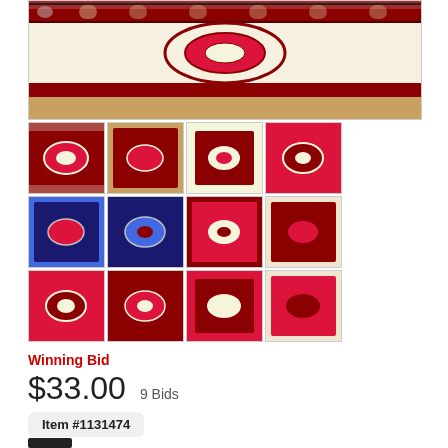[Figure (photo): Main large photo of a Persian/Oriental rug with red and cream colors laid on a hardwood floor, viewed from above]
[Figure (photo): Grid of 12 thumbnail photos showing various angles and details of the same Persian/Oriental rug]
Winning Bid
$33.00  9 Bids
Item #1131474